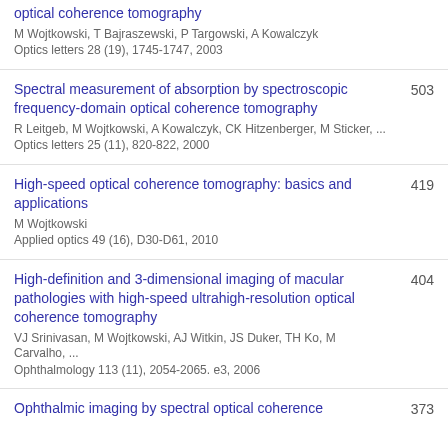optical coherence tomography
M Wojtkowski, T Bajraszewski, P Targowski, A Kowalczyk
Optics letters 28 (19), 1745-1747, 2003
Spectral measurement of absorption by spectroscopic frequency-domain optical coherence tomography
R Leitgeb, M Wojtkowski, A Kowalczyk, CK Hitzenberger, M Sticker, ...
Optics letters 25 (11), 820-822, 2000
503
High-speed optical coherence tomography: basics and applications
M Wojtkowski
Applied optics 49 (16), D30-D61, 2010
419
High-definition and 3-dimensional imaging of macular pathologies with high-speed ultrahigh-resolution optical coherence tomography
VJ Srinivasan, M Wojtkowski, AJ Witkin, JS Duker, TH Ko, M Carvalho, ...
Ophthalmology 113 (11), 2054-2065. e3, 2006
404
Ophthalmic imaging by spectral optical coherence
373